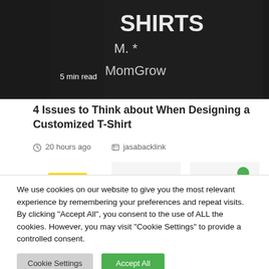[Figure (photo): Dark chalkboard sign with white text reading 'SHIRTS M.' with '5 min read' overlay text in bottom left]
4 Issues to Think about When Designing a Customized T-Shirt
20 hours ago   jasabacklink
[Figure (photo): Three thumbnail images: an education icon with 'EDUCATION' badge, a yellow semicircle illustration, and a network/share icon with colored dots]
We use cookies on our website to give you the most relevant experience by remembering your preferences and repeat visits. By clicking "Accept All", you consent to the use of ALL the cookies. However, you may visit "Cookie Settings" to provide a controlled consent.